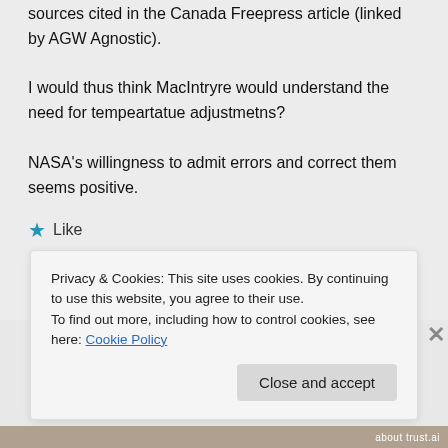sources cited in the Canada Freepress article (linked by AGW Agnostic).
I would thus think MacIntryre would understand the need for tempeartatue adjustmetns?
NASA's willingness to admit errors and correct them seems positive.
★ Like
Privacy & Cookies: This site uses cookies. By continuing to use this website, you agree to their use. To find out more, including how to control cookies, see here: Cookie Policy